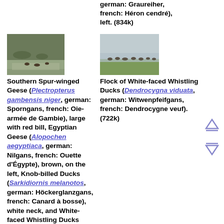german: Graureiher, french: Héron cendré), left. (834k)
[Figure (photo): Southern Spur-winged Geese and other waterfowl on a riverbank]
[Figure (photo): Flock of White-faced Whistling Ducks in a field near water]
Southern Spur-winged Geese (Plectropterus gambensis niger, german: Sporngans, french: Oie-armée de Gambie), large with red bill, Egyptian Geese (Alopochen aegyptiaca, german: Nilgans, french: Ouette d'Égypte), brown, on the left, Knob-billed Ducks (Sarkidiornis melanotos, german: Höckerglanzgans, french: Canard à bosse), white neck, and White-faced Whistling Ducks (Dendrocygna viduata,
Flock of White-faced Whistling Ducks (Dendrocygna viduata, german: Witwenpfeifgans, french: Dendrocygne veuf). (722k)